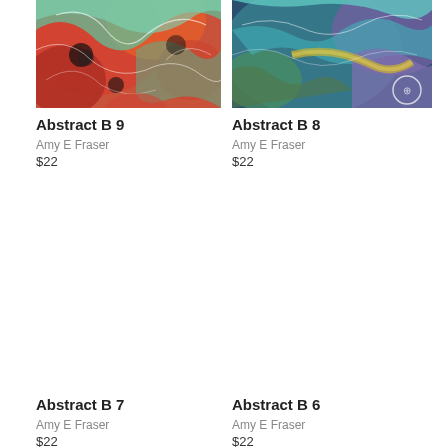[Figure (illustration): Abstract colorful artwork in red, orange, green, teal tones with organic flowing shapes - Abstract B 9 by Amy E Fraser]
Abstract B 9
Amy E Fraser
$22
[Figure (illustration): Abstract colorful artwork in teal, blue, purple, green tones with organic flowing shapes - Abstract B 8 by Amy E Fraser]
Abstract B 8
Amy E Fraser
$22
[Figure (illustration): Abstract artwork - Abstract B 7 by Amy E Fraser (image mostly off screen)]
Abstract B 7
Amy E Fraser
$22
[Figure (illustration): Abstract artwork - Abstract B 6 by Amy E Fraser (image mostly off screen)]
Abstract B 6
Amy E Fraser
$22